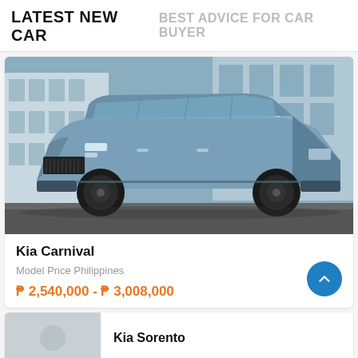LATEST NEW CAR   BEST ADVICE FOR CAR BUYER
[Figure (photo): Kia Carnival minivan in steel blue color parked in front of modern buildings]
Kia Carnival
Model Price Philippines
₱ 2,540,000 - ₱ 3,008,000
Kia Sorento